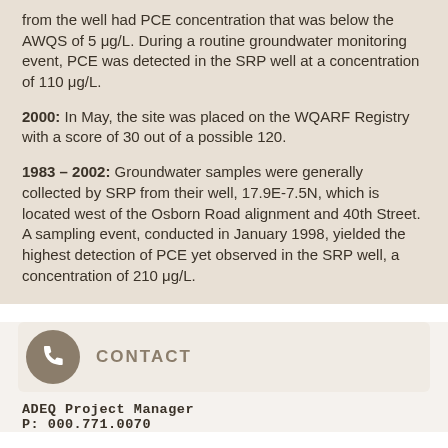from the well had PCE concentration that was below the AWQS of 5 μg/L. During a routine groundwater monitoring event, PCE was detected in the SRP well at a concentration of 110 μg/L.
2000: In May, the site was placed on the WQARF Registry with a score of 30 out of a possible 120.
1983 – 2002: Groundwater samples were generally collected by SRP from their well, 17.9E-7.5N, which is located west of the Osborn Road alignment and 40th Street. A sampling event, conducted in January 1998, yielded the highest detection of PCE yet observed in the SRP well, a concentration of 210 μg/L.
CONTACT
ADEQ Project Manager
P: 000.771.0070